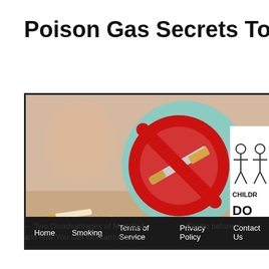Poison Gas Secrets To Quit Sm
[Figure (photo): Banner image showing broken cigarettes on a surface with a fist in background, overlaid with a red no-smoking symbol inside a teal circle, and a partial children warning label on the right side. Navigation bar at the bottom with Home, Smoking, Terms of Service, Privacy Policy, Contact Us links.]
Home   Smoking   Terms of Service   Privacy Policy   Contact Us
← Two Disadvantages of Modafinil and how You can Workaround It.
Cardio before o